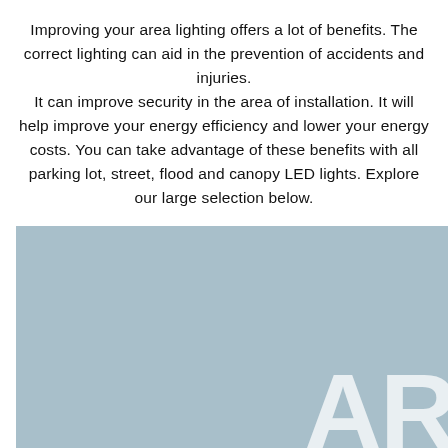Improving your area lighting offers a lot of benefits. The correct lighting can aid in the prevention of accidents and injuries. It can improve security in the area of installation. It will help improve your energy efficiency and lower your energy costs. You can take advantage of these benefits with all parking lot, street, flood and canopy LED lights. Explore our large selection below.
[Figure (photo): Light blue/grey rectangular image placeholder area with large white 'AR' letters partially visible in the bottom right corner and a white scroll-to-top button with a chevron icon overlaid on the right side.]